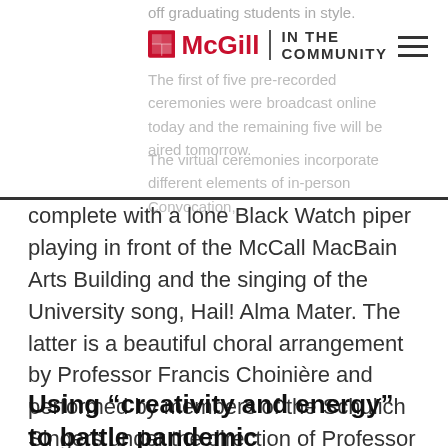off graduating students in style.
McGill | IN THE COMMUNITY
The first of five pre-recorded ceremonies were broadcast online today and the remaining five will be aired tomorrow.
The virtual ceremonies incorporate different elements of in-person Convocation, complete with a lone Black Watch piper playing in front of the McCall MacBain Arts Building and the singing of the University song, Hail! Alma Mater. The latter is a beautiful choral arrangement by Professor Francis Choinière and performed by members of the Schulich Singers under the direction of Professor Jean-Sébastien Vallée.
Using “creativity and energy” to battle pandemic